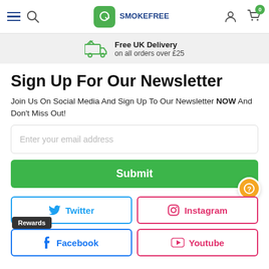SmokeFree navigation bar with hamburger menu, search, logo, account and cart icons
Free UK Delivery on all orders over £25
Sign Up For Our Newsletter
Join Us On Social Media And Sign Up To Our Newsletter NOW And Don't Miss Out!
Enter your email address
Submit
Twitter
Instagram
Facebook
Youtube
Rewards